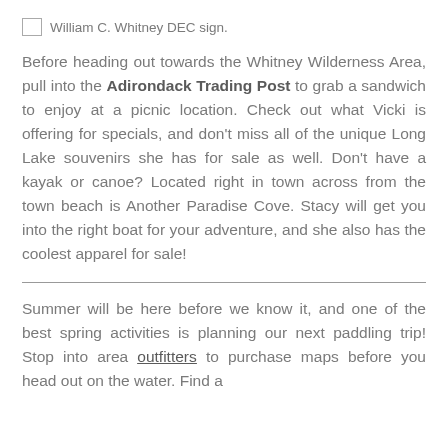[Figure (photo): William C. Whitney DEC sign. (broken image placeholder with alt text)]
Before heading out towards the Whitney Wilderness Area, pull into the Adirondack Trading Post to grab a sandwich to enjoy at a picnic location. Check out what Vicki is offering for specials, and don't miss all of the unique Long Lake souvenirs she has for sale as well. Don't have a kayak or canoe? Located right in town across from the town beach is Another Paradise Cove. Stacy will get you into the right boat for your adventure, and she also has the coolest apparel for sale!
Summer will be here before we know it, and one of the best spring activities is planning our next paddling trip! Stop into area outfitters to purchase maps before you head out on the water. Find a